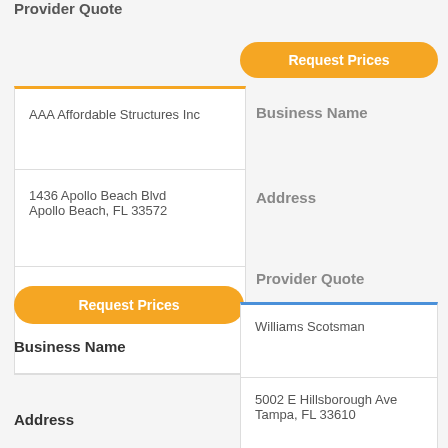Provider Quote
Request Prices
| Field | Value |
| --- | --- |
| Business Name | AAA Affordable Structures Inc |
| Address | 1436 Apollo Beach Blvd
Apollo Beach, FL 33572 |
| Provider Quote |  |
Request Prices
| Field | Value |
| --- | --- |
| Business Name | Williams Scotsman |
| Address | 5002 E Hillsborough Ave
Tampa, FL 33610 |